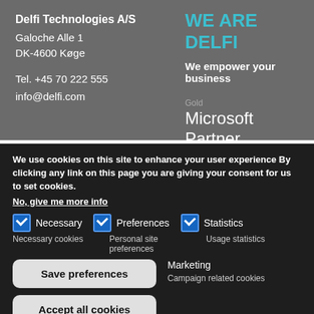Delfi Technologies A/S
Galoche Alle 1
DK-4600 Køge

Tel. +45 70 222 555
info@delfi.com
WE ARE DELFI
We empower your business
Gold
Microsoft Partner
We use cookies on this site to enhance your user experience By clicking any link on this page you are giving your consent for us to set cookies.
No, give me more info
Necessary
Preferences
Statistics
Necessary cookies Personal site preferences Usage statistics
Marketing
Campaign related cookies
Save preferences
Accept all cookies